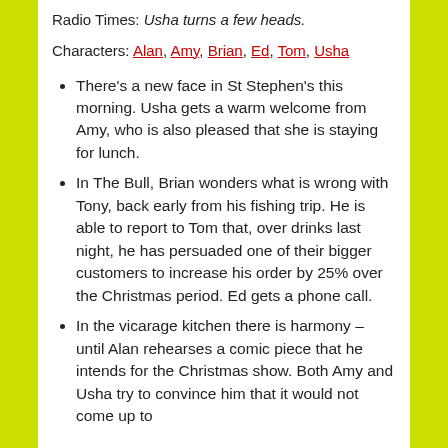Radio Times: Usha turns a few heads.
Characters: Alan, Amy, Brian, Ed, Tom, Usha
There's a new face in St Stephen's this morning. Usha gets a warm welcome from Amy, who is also pleased that she is staying for lunch.
In The Bull, Brian wonders what is wrong with Tony, back early from his fishing trip. He is able to report to Tom that, over drinks last night, he has persuaded one of their bigger customers to increase his order by 25% over the Christmas period. Ed gets a phone call.
In the vicarage kitchen there is harmony – until Alan rehearses a comic piece that he intends for the Christmas show. Both Amy and Usha try to convince him that it would not come up to